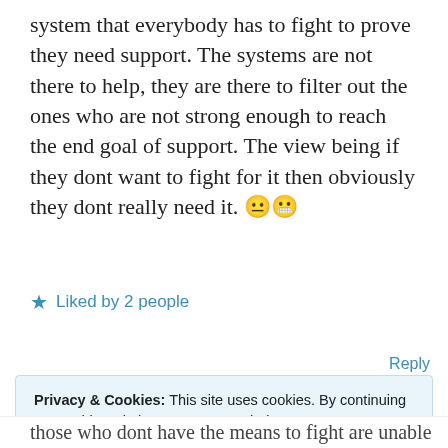system that everybody has to fight to prove they need support. The systems are not there to help, they are there to filter out the ones who are not strong enough to reach the end goal of support. The view being if they dont want to fight for it then obviously they dont really need it. 😐😬
★ Liked by 2 people
Reply
Privacy & Cookies: This site uses cookies. By continuing to use this website, you agree to their use. To find out more, including how to control cookies, see here: Our Cookie Policy
Close and accept
those who dont have the means to fight are unable